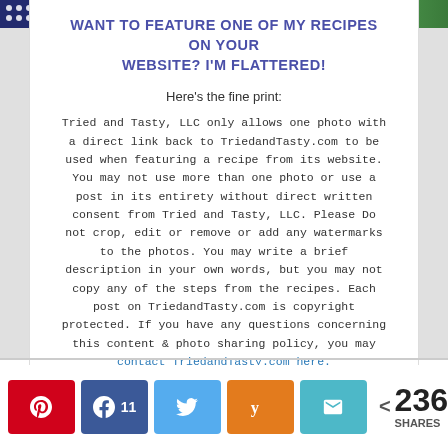[Figure (screenshot): Top banner with dark navy polka-dot section on left and green gradient background]
WANT TO FEATURE ONE OF MY RECIPES ON YOUR WEBSITE? I'M FLATTERED!
Here's the fine print:
Tried and Tasty, LLC only allows one photo with a direct link back to TriedandTasty.com to be used when featuring a recipe from its website. You may not use more than one photo or use a post in its entirety without direct written consent from Tried and Tasty, LLC. Please Do not crop, edit or remove or add any watermarks to the photos. You may write a brief description in your own words, but you may not copy any of the steps from the recipes. Each post on TriedandTasty.com is copyright protected. If you have any questions concerning this content & photo sharing policy, you may contact TriedandTasty.com here.
[Figure (screenshot): Social share bar with Pinterest, Facebook (11), Twitter, Yummly, Email buttons and 236 SHARES count]